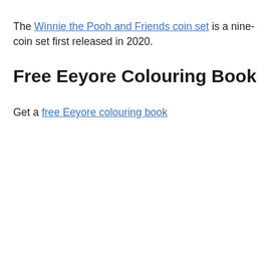The Winnie the Pooh and Friends coin set is a nine-coin set first released in 2020.
Free Eeyore Colouring Book
Get a free Eeyore colouring book